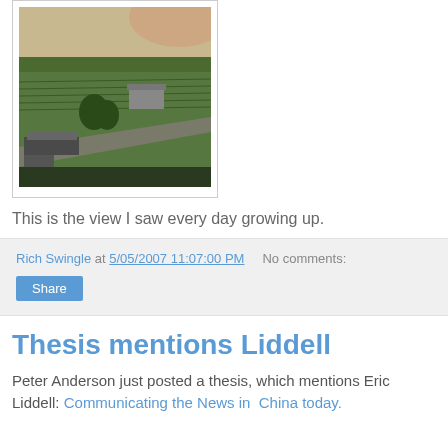[Figure (photo): Aerial/elevated view of a rural landscape with green fields, a road, parked trucks or trailers, and farm buildings in the distance, taken at dusk or dawn with a reddish sky.]
This is the view I saw every day growing up.
Rich Swingle at 5/05/2007 11:07:00 PM   No comments:
Thesis mentions Liddell
Peter Anderson just posted a thesis, which mentions Eric Liddell: Communicating the News in China today.